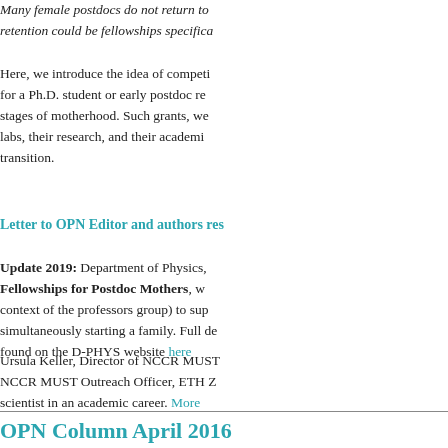Many female postdocs do not return to... retention could be fellowships specifica...
Here, we introduce the idea of competi... for a Ph.D. student or early postdoc re... stages of motherhood. Such grants, we... labs, their research, and their academi... transition.
Letter to OPN Editor and authors res...
Update 2019: Department of Physics, Fellowships for Postdoc Mothers, w... context of the professors group) to sup... simultaneously starting a family. Full de... found on the D-PHYS website here
Ursula Keller, Director of NCCR MUST... NCCR MUST Outreach Officer, ETH Z... scientist in an academic career. More...
OPN Column April 2016
Gender and Science in South Korea...